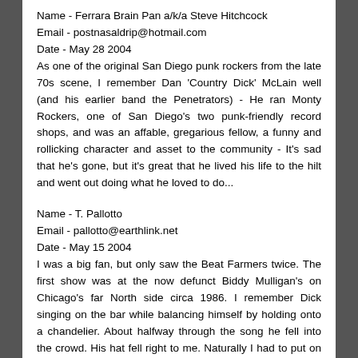Name - Ferrara Brain Pan a/k/a Steve Hitchcock
Email - postnasaldrip@hotmail.com
Date - May 28 2004
As one of the original San Diego punk rockers from the late 70s scene, I remember Dan 'Country Dick' McLain well (and his earlier band the Penetrators) - He ran Monty Rockers, one of San Diego's two punk-friendly record shops, and was an affable, gregarious fellow, a funny and rollicking character and asset to the community - It's sad that he's gone, but it's great that he lived his life to the hilt and went out doing what he loved to do...
Name - T. Pallotto
Email - pallotto@earthlink.net
Date - May 15 2004
I was a big fan, but only saw the Beat Farmers twice. The first show was at the now defunct Biddy Mulligan's on Chicago's far North side circa 1986. I remember Dick singing on the bar while balancing himself by holding onto a chandelier. About halfway through the song he fell into the crowd. His hat fell right to me. Naturally I had to put on the famous hat. The crowd pushed Dick back onto the bar. He helped himself up by pushing up on a hot coffee plate--no sign of pain! He looked around, saw me and said, "Gimme that hat boy." He grabbed it off my head and